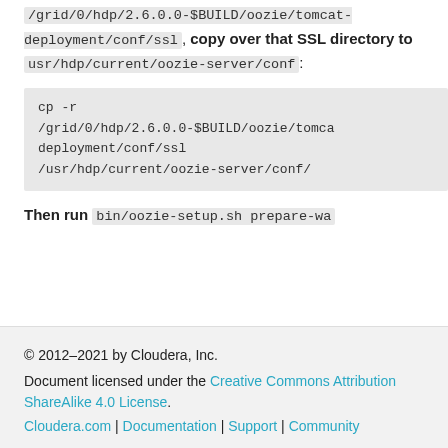/grid/0/hdp/2.6.0.0-$BUILD/oozie/tomcat-deployment/conf/ssl, copy over that SSL directory to usr/hdp/current/oozie-server/conf:
cp -r
/grid/0/hdp/2.6.0.0-$BUILD/oozie/tomcat-deployment/conf/ssl
/usr/hdp/current/oozie-server/conf/
Then run bin/oozie-setup.sh prepare-wa...
© 2012–2021 by Cloudera, Inc.
Document licensed under the Creative Commons Attribution ShareAlike 4.0 License.
Cloudera.com | Documentation | Support | Community